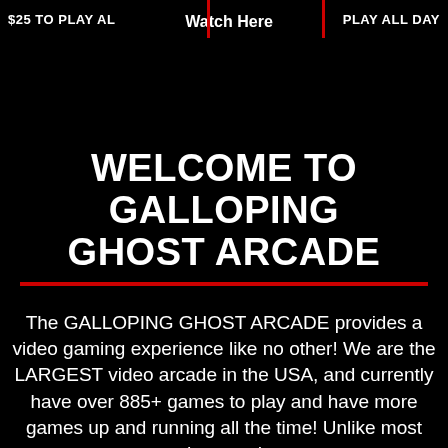$25 TO PLAY ALL | Watch Here | PLAY ALL DAY
WELCOME TO GALLOPING GHOST ARCADE
The GALLOPING GHOST ARCADE provides a video gaming experience like no other! We are the LARGEST video arcade in the USA, and currently have over 885+ games to play and have more games up and running all the time! Unlike most arcades, we do not